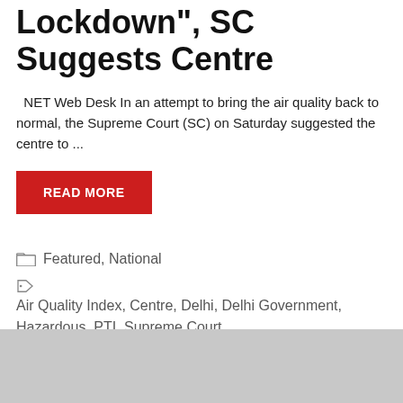Lockdown", SC Suggests Centre
NET Web Desk In an attempt to bring the air quality back to normal, the Supreme Court (SC) on Saturday suggested the centre to ...
READ MORE
Featured, National
Air Quality Index, Centre, Delhi, Delhi Government, Hazardous, PTI, Supreme Court